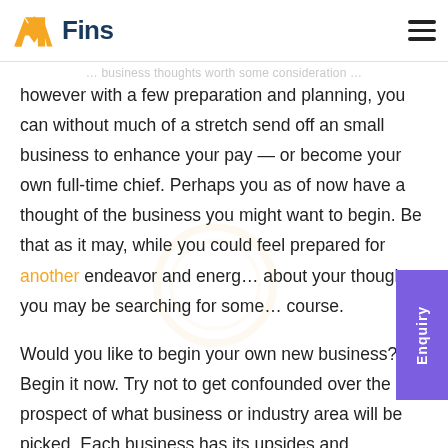MFins — logo and navigation header
however with a few preparation and planning, you can without much of a stretch send off an small business to enhance your pay — or become your own full-time chief. Perhaps you as of now have a thought of the business you might want to begin. Be that as it may, while you could feel prepared for another endeavor and energized about your thought, you may be searching for some course.
Would you like to begin your own new business? Begin it now. Try not to get confounded over the prospect of what business or industry area will be picked. Each business has its upsides and downsides, it's just about the best business thoughts to bring in cash. It is in...